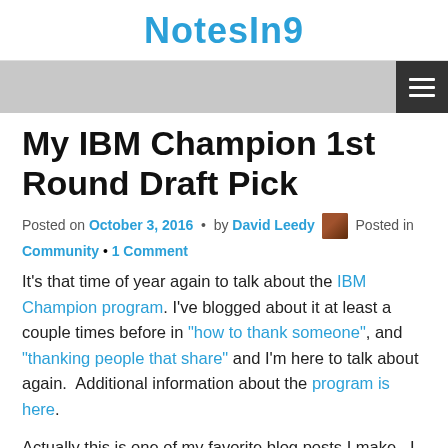NotesIn9
My IBM Champion 1st Round Draft Pick
Posted on October 3, 2016 • by David Leedy Posted in Community • 1 Comment
It's that time of year again to talk about the IBM Champion program. I've blogged about it at least a couple times before in "how to thank someone", and "thanking people that share" and I'm here to talk about again.  Additional information about the program is here.
Actually this is one of my favorite blog posts I make.  I love trying to find someone who is not an IBM Champion but shares great content and I think deserves to be an IBM Champion.